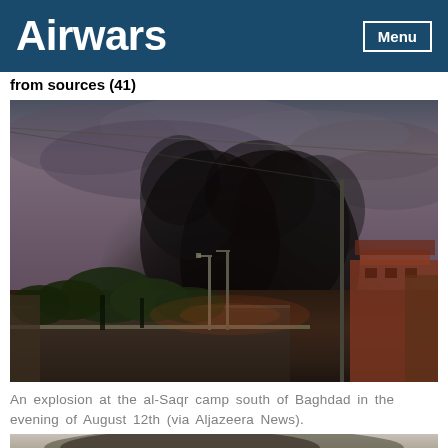Airwars  Menu
from sources (41)
[Figure (photo): A dark smoke plume rising from an explosion at the al-Saqr camp south of Baghdad, with street lamps, trees, a road, and a reddish-brown building visible in the foreground, under a cloudy, dark sky. A wire crosses the upper portion of the image.]
An explosion at the al-Saqr camp south of Baghdad in the evening of August 12th (via Aljazeera News).
[Figure (photo): Dark smoke plume, partial view at bottom of page.]